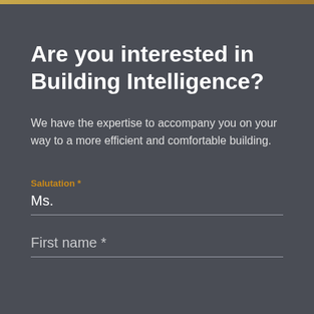Are you interested in Building Intelligence?
We have the expertise to accompany you on your way to a more efficient and comfortable building.
Salutation *
Ms.
First name *